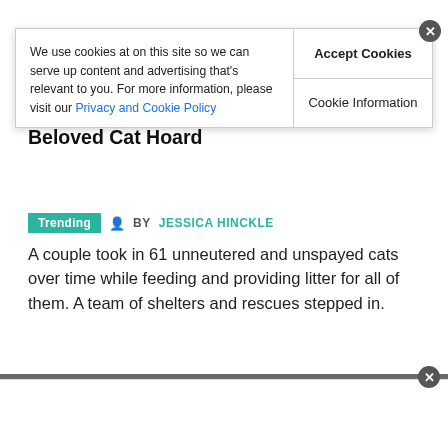Humane Action Team Of Shelters & Rescues Steps In To Care For Couple's Beloved Cat Hoard
Trending  BY JESSICA HINCKLE
A couple took in 61 unneutered and unspayed cats over time while feeding and providing litter for all of them. A team of shelters and rescues stepped in.
[Figure (photo): Close-up photo of a grey cat's face showing large amber/yellow eyes]
We use cookies at on this site so we can serve up content and advertising that's relevant to you. For more information, please visit our Privacy and Cookie Policy
Accept Cookies
Cookie Information